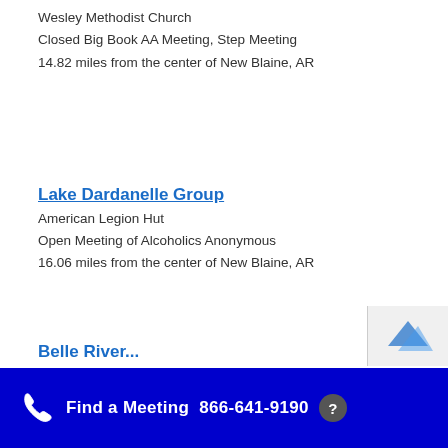Wesley Methodist Church
Closed Big Book AA Meeting, Step Meeting
14.82 miles from the center of New Blaine, AR
Lake Dardanelle Group
American Legion Hut
Open Meeting of Alcoholics Anonymous
16.06 miles from the center of New Blaine, AR
Find a Meeting  866-641-9190